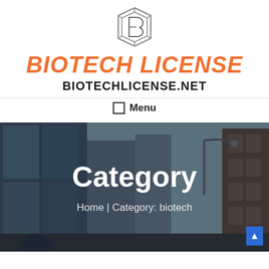[Figure (logo): Biotech License geometric B logo in outline style]
BIOTECH LICENSE
BIOTECHLICENSE.NET
☰  Menu
[Figure (photo): Urban city street scene with tall buildings and a street lamp against a sky background, dark overlay applied]
Category
Home | Category: biotech